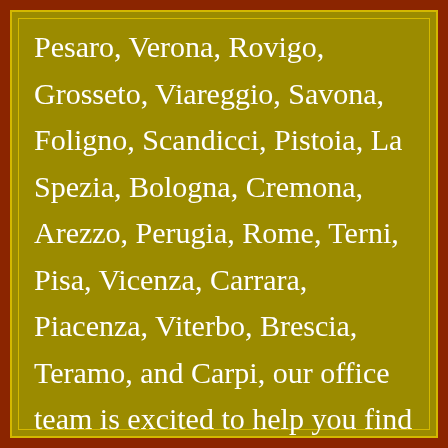Pesaro, Verona, Rovigo, Grosseto, Viareggio, Savona, Foligno, Scandicci, Pistoia, La Spezia, Bologna, Cremona, Arezzo, Perugia, Rome, Terni, Pisa, Vicenza, Carrara, Piacenza, Viterbo, Brescia, Teramo, and Carpi, our office team is excited to help you find buses for any trip to and from Calabria, Piedmont, Liguria, Apulia, Lazio, Friuli-Venezia Giulia, Veneto, Molise, Marche, Abruzzo, Tuscany, Sicily...